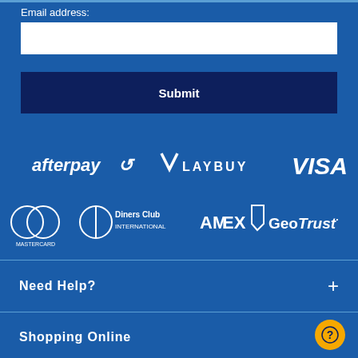Email address:
[Figure (screenshot): White text input field for email address]
[Figure (screenshot): Dark navy Submit button]
[Figure (logo): Payment and trust logos: afterpay, LAYBUY, VISA, Mastercard, Diners Club International, AMEX, GeoTrust]
Need Help?
Shopping Online